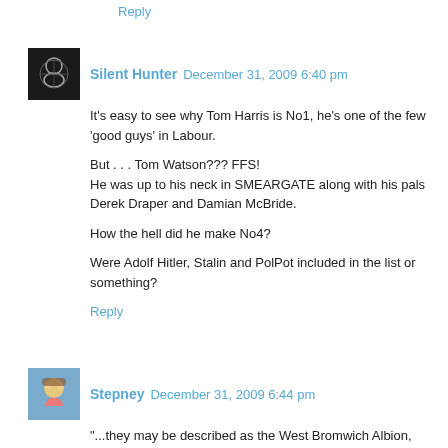Reply
Silent Hunter  December 31, 2009 6:40 pm
It's easy to see why Tom Harris is No1, he's one of the few 'good guys' in Labour.

But . . . Tom Watson??? FFS!
He was up to his neck in SMEARGATE along with his pals Derek Draper and Damian McBride.

How the hell did he make No4?

Were Adolf Hitler, Stalin and PolPot included in the list or something?
Reply
Stepney  December 31, 2009 6:44 pm
"...they may be described as the West Bromwich Albion, Crystal Palace and Derby County of political blogging."